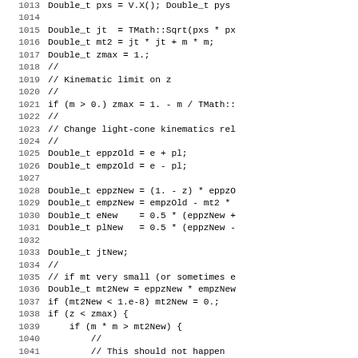[Figure (screenshot): Source code listing showing C++ physics simulation code, lines 1013-1045, with line numbers on the left and code on the right in monospace font. The code involves Double_t variables, kinematic calculations, light-cone kinematics, and physical computations including jt, mt2, zmax, eppzOld, empzOld, eppzNew, empzNew, eNew, plNew, jtNew, mt2New, and conditional logic.]